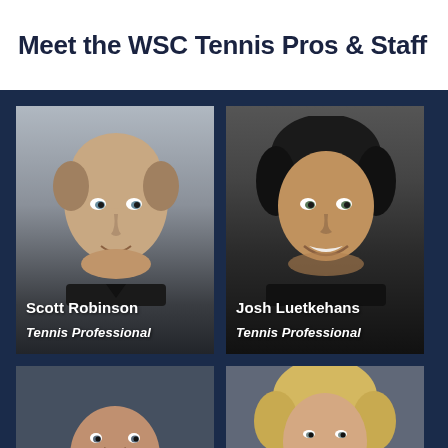Meet the WSC Tennis Pros & Staff
[Figure (photo): Headshot photo of Scott Robinson, a bald middle-aged man in a dark polo shirt with name overlay 'Scott Robinson' and title 'Tennis Professional']
[Figure (photo): Headshot photo of Josh Luetkehans, a young man with dark hair smiling, wearing dark jacket, with name overlay 'Josh Luetkehans' and title 'Tennis Professional']
[Figure (photo): Partial headshot of a third tennis staff member, partially visible at bottom of page]
[Figure (photo): Partial headshot of a fourth tennis staff member with blonde hair, partially visible at bottom of page]